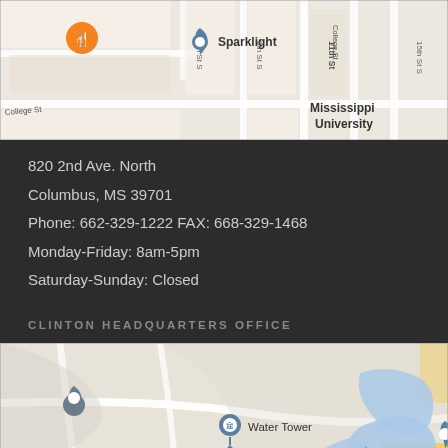[Figure (map): Google Maps screenshot showing Sparklight location near Mississippi University area, Columbus MS with street grid including 7th St S, 9th St S, 11th St, 15th St S, College St]
820 2nd Ave. North
Columbus, MS 39701
Phone: 662-329-1222 FAX: 668-329-1468
Monday-Friday: 8am-5pm
Saturday-Sunday: Closed
CLINTON HEADQUARTERS OFFICE
[Figure (map): Google Maps screenshot showing Data Systems Management location near Clinton MS, with Water Tower, DaySpring Community Church, a pond, Total Life Cha(Health and Welln) labels visible]